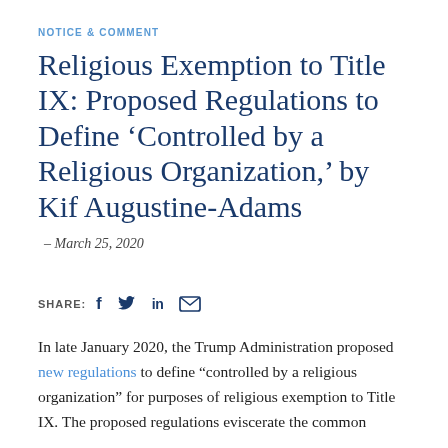NOTICE & COMMENT
Religious Exemption to Title IX: Proposed Regulations to Define ‘Controlled by a Religious Organization,’ by Kif Augustine-Adams
– March 25, 2020
SHARE: f  in [mail icon]
In late January 2020, the Trump Administration proposed new regulations to define “controlled by a religious organization” for purposes of religious exemption to Title IX. The proposed regulations eviscerate the common